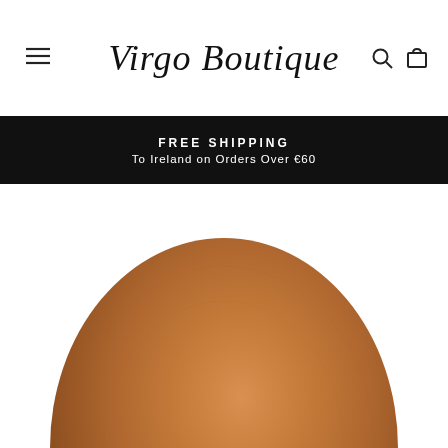Virgo Boutique
FREE SHIPPING
To Ireland on Orders Over €60
[Figure (photo): Round brown/caramel felt hat brim photographed from above, showing the top and curved brim of the hat against a white background.]